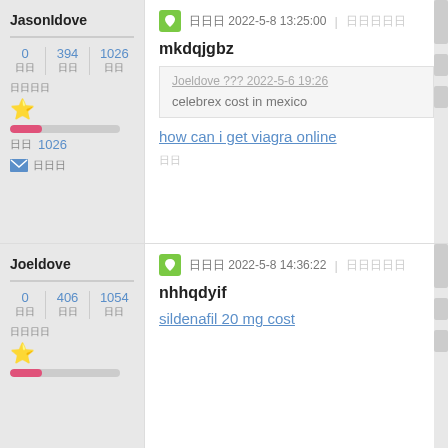JasonIdove
0 | 394 | 1026
日日日日
日日  1026
日日日
日日日 2022-5-8 13:25:00 | 日日日日日
mkdqjgbz
Joeldove ??? 2022-5-6 19:26
celebrex cost in mexico
how can i get viagra online
日日
Joeldove
0 | 406 | 1054
日日日日
日日日 2022-5-8 14:36:22 | 日日日日日
nhhqdyif
sildenafil 20 mg cost